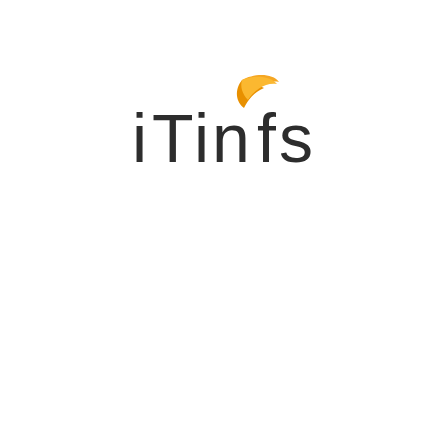[Figure (logo): iTinFs company logo: dark charcoal rounded-font text 'iTinFs' with an orange swoosh/flame shape above the letter 'f']